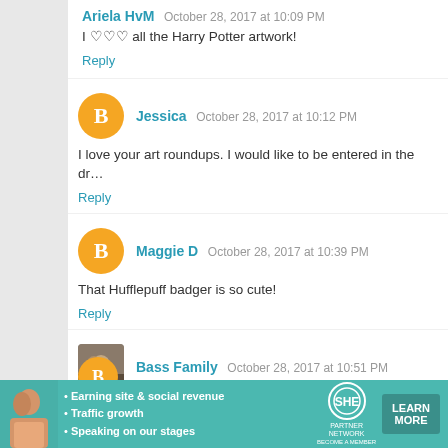Ariela HvM  October 28, 2017 at 10:09 PM
I ♡♡♡ all the Harry Potter artwork!
Reply
Jessica  October 28, 2017 at 10:12 PM
I love your art roundups. I would like to be entered in the dr...
Reply
Maggie D  October 28, 2017 at 10:39 PM
That Hufflepuff badger is so cute!
Reply
Bass Family  October 28, 2017 at 10:51 PM
Marvel roundup and the wild card for me please! Also, I fors...
Reply
[Figure (infographic): SHE Partner Network advertisement banner with teal background, showing a woman, bullet points about earning site & social revenue, traffic growth, speaking on our stages, SHE Partner Network logo, and a Learn More button.]